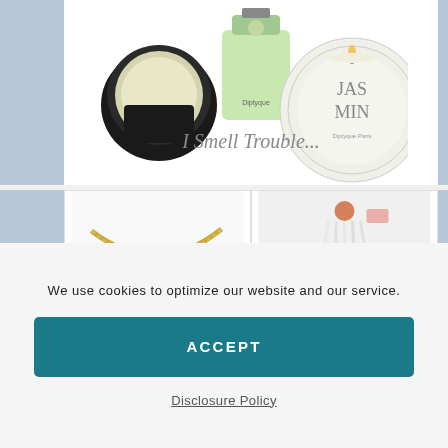[Figure (photo): Beauty/fragrance product flatlay showing a compact powder, green perfume bottle, and Diptyque jasmine candle with text 'I Smell Trouble...' overlaid]
[Figure (photo): 4-panel grid showing jewelry items: 1) gold chain necklace, 2) white tassel earrings with pink accent, 3) gold bracelet with charms, 4) partial view of another jewelry item. Items numbered 1 and 2.]
We use cookies to optimize our website and our service.
ACCEPT
Disclosure Policy